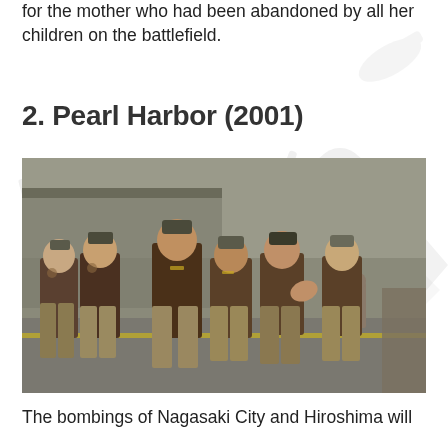for the mother who had been abandoned by all her children on the battlefield.
2. Pearl Harbor (2001)
[Figure (photo): Group of military officers in WWII-era leather bomber jackets and military caps walking together on an airfield tarmac.]
The bombings of Nagasaki City and Hiroshima will